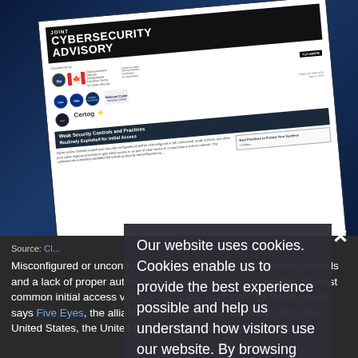[Figure (screenshot): Screenshot of a Joint Cybersecurity Advisory document cover page, rotated slightly, showing title 'JOINT CYBERSECURITY ADVISORY', agency logos including FBI, NSA, CISA, NCSC and others, and a subtitle about 'Weak Security Controls and Practices Routinely Exploited for Initial Access']
Source: CI...
Misconfigured or unconfigured security configurations, weak controls and a lack of proper authentication protocols are among the 10 most common initial access vectors "routinely exploited" by threat actors, says Five Eyes, the alliance of cybersecurity authorities from the United States, the United Kingdom, Australia, New Zealand...
Our website uses cookies. Cookies enable us to provide the best experience possible and help us understand how visitors use our website. By browsing govinfosecurity.com, you agree to our use of cookies.